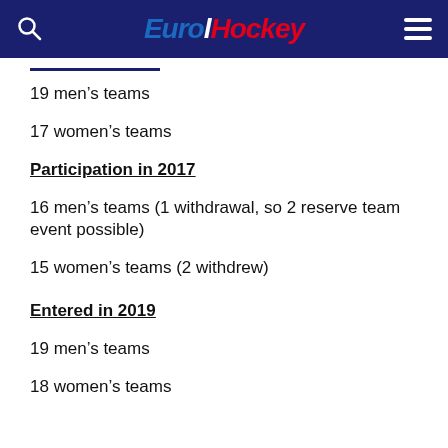EuroHockey
19 men's teams
17 women's teams
Participation in 2017
16 men's teams (1 withdrawal, so 2 reserve team event possible)
15 women's teams (2 withdrew)
Entered in 2019
19 men's teams
18 women's teams